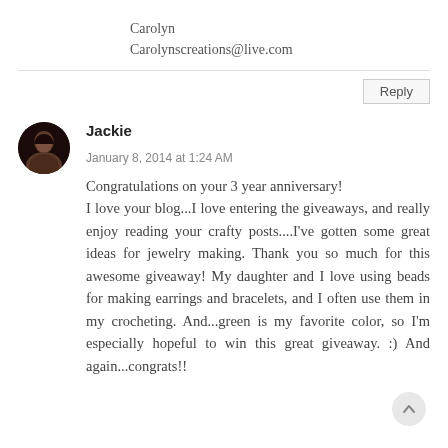Carolyn
Carolynscreations@live.com
Reply
Jackie
January 8, 2014 at 1:24 AM
Congratulations on your 3 year anniversary! I love your blog...I love entering the giveaways, and really enjoy reading your crafty posts....I've gotten some great ideas for jewelry making. Thank you so much for this awesome giveaway! My daughter and I love using beads for making earrings and bracelets, and I often use them in my crocheting. And...green is my favorite color, so I'm especially hopeful to win this great giveaway. :) And again...congrats!!